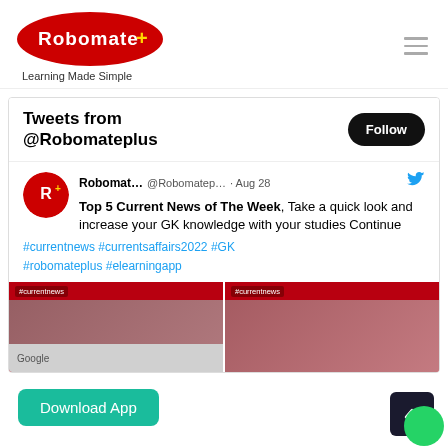[Figure (logo): Robomate+ logo — red oval with white text 'Robomate' and a '+' symbol, with tagline 'Learning Made Simple' below]
Tweets from @Robomateplus
[Figure (screenshot): A Twitter/X embed showing a tweet from Robomat... @Robomatep... · Aug 28 with Twitter bird icon. Tweet text: 'Top 5 Current News of The Week, Take a quick look and increase your GK knowledge with your studies Continue'. Hashtags: #currentnews #currentsaffairs2022 #GK #robomateplus #elearningapp. Below are two thumbnail images on red backgrounds labeled #currentnews, one showing a Google sign, another showing a man at a podium. A 'Follow' button appears in the header. A 'Download App' teal button and a dark scroll-to-top button with green chat circle are at the bottom.]